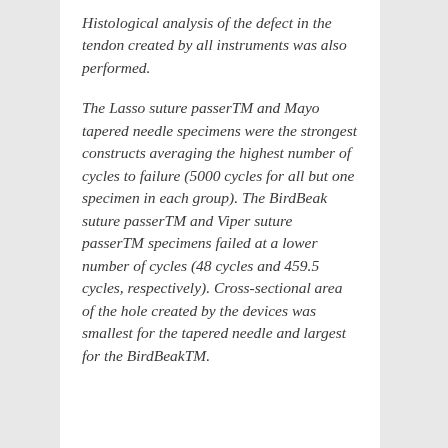Histological analysis of the defect in the tendon created by all instruments was also performed.
The Lasso suture passerTM and Mayo tapered needle specimens were the strongest constructs averaging the highest number of cycles to failure (5000 cycles for all but one specimen in each group). The BirdBeak suture passerTM and Viper suture passerTM specimens failed at a lower number of cycles (48 cycles and 459.5 cycles, respectively). Cross-sectional area of the hole created by the devices was smallest for the tapered needle and largest for the BirdBeakTM.